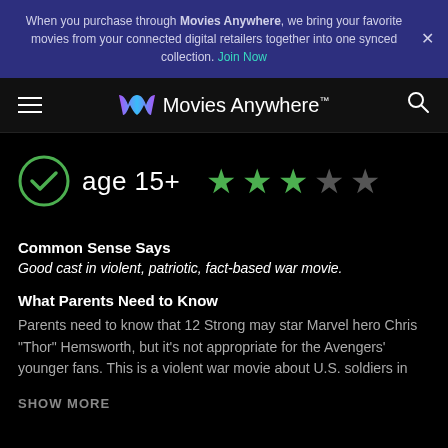When you purchase through Movies Anywhere, we bring your favorite movies from your connected digital retailers together into one synced collection. Join Now
[Figure (logo): Movies Anywhere logo with stylized M in purple/cyan and text 'Movies Anywhere™']
[Figure (infographic): Age rating badge: green checkmark circle with 'age 15+' and 3 filled green stars + 2 empty grey stars (3 out of 5 star rating)]
Common Sense Says
Good cast in violent, patriotic, fact-based war movie.
What Parents Need to Know
Parents need to know that 12 Strong may star Marvel hero Chris "Thor" Hemsworth, but it's not appropriate for the Avengers' younger fans. This is a violent war movie about U.S. soldiers in
SHOW MORE